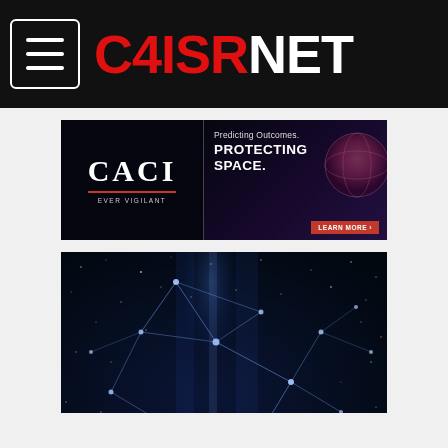C4ISRNET
[Figure (screenshot): CACI advertisement banner: 'Predicting Outcomes. PROTECTING SPACE.' with EVER VIGILANT tagline and LEARN MORE button, space/globe imagery]
[Figure (photo): Dark blue network connectivity image with glowing nodes and connection lines against a starry background]